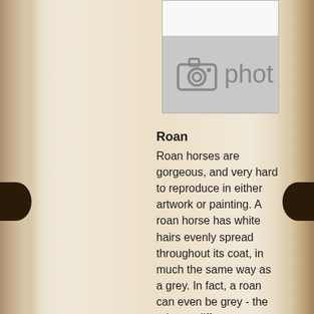[Figure (photo): Photo placeholder with camera icon and 'photo' text on grey background, white strip at top]
Roan
Roan horses are gorgeous, and very hard to reproduce in either artwork or painting. A roan horse has white hairs evenly spread throughout its coat, in much the same way as a grey. In fact, a roan can even be grey - the primary difference between the two being that roans coats do not get lighter with age.